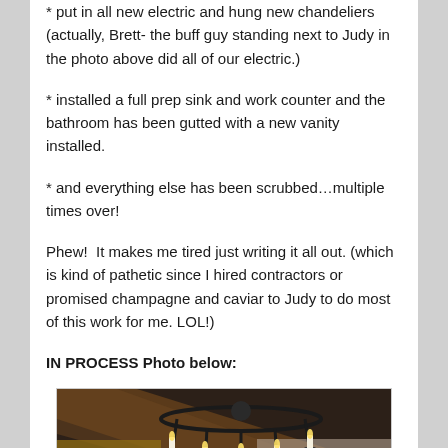* put in all new electric and hung new chandeliers (actually, Brett- the buff guy standing next to Judy in the photo above did all of our electric.)
* installed a full prep sink and work counter and the bathroom has been gutted with a new vanity installed.
* and everything else has been scrubbed…multiple times over!
Phew!  It makes me tired just writing it all out. (which is kind of pathetic since I hired contractors or promised champagne and caviar to Judy to do most of this work for me. LOL!)
IN PROCESS Photo below:
[Figure (photo): A chandelier with candle-style lights and crystal drops hanging from an ornate dark metal frame, viewed from below against a ceiling with exposed wooden beams.]